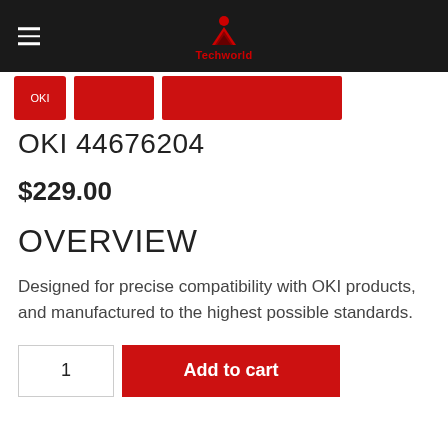Techworld
[Figure (logo): OKI brand product image strip showing partial red branded product images]
OKI 44676204
$229.00
OVERVIEW
Designed for precise compatibility with OKI products, and manufactured to the highest possible standards.
1  Add to cart